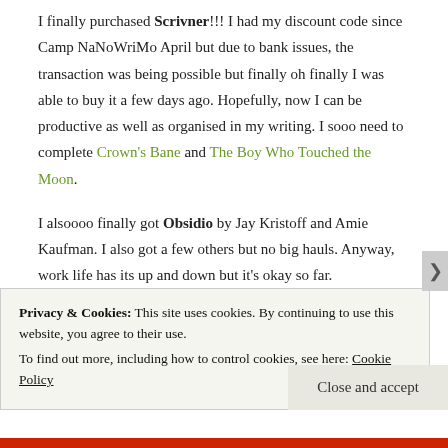I finally purchased Scrivner!!! I had my discount code since Camp NaNoWriMo April but due to bank issues, the transaction was being possible but finally oh finally I was able to buy it a few days ago. Hopefully, now I can be productive as well as organised in my writing. I sooo need to complete Crown's Bane and The Boy Who Touched the Moon.
I alsoooo finally got Obsidio by Jay Kristoff and Amie Kaufman. I also got a few others but no big hauls. Anyway, work life has its up and down but it's okay so far. I am also...
Privacy & Cookies: This site uses cookies. By continuing to use this website, you agree to their use.
To find out more, including how to control cookies, see here: Cookie Policy
Close and accept